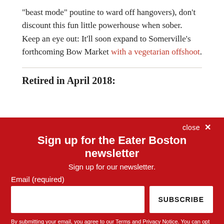“beast mode” poutine to ward off hangovers), don’t discount this fun little powerhouse when sober. Keep an eye out: It’ll soon expand to Somerville’s forthcoming Bow Market with a vegetarian offshoot.
Retired in April 2018:
[Figure (other): Newsletter signup overlay with red background. Title: Sign up for the Eater Boston newsletter. Subtitle: Sign up for our newsletter. Email input field and SUBSCRIBE button. Legal disclaimer text at bottom.]